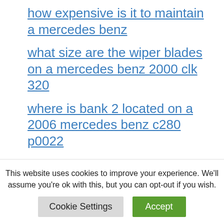how expensive is it to maintain a mercedes benz
what size are the wiper blades on a mercedes benz 2000 clk 320
where is bank 2 located on a 2006 mercedes benz c280 p0022
how to remove weight mercedes benz
is mercedes benz require premium
does mercedes benz make class a
This website uses cookies to improve your experience. We'll assume you're ok with this, but you can opt-out if you wish.
Cookie Settings   Accept